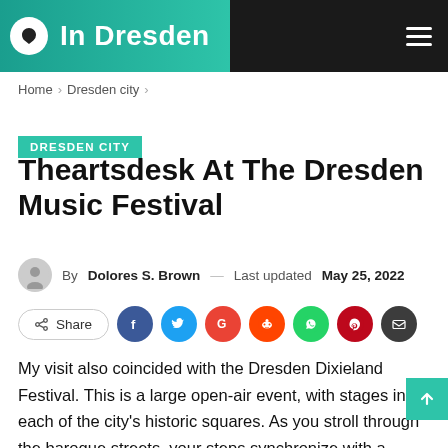In Dresden
Home > Dresden city >
DRESDEN CITY
Theartsdesk At The Dresden Music Festival
By Dolores S. Brown — Last updated May 25, 2022
Share [social buttons: Facebook, Twitter, Google, Reddit, WhatsApp, Pinterest, Email]
My visit also coincided with the Dresden Dixieland Festival. This is a large open-air event, with stages in each of the city's historic squares. As you stroll through the baroque streets, your steps synchronize with a gently persuasive bassline from a